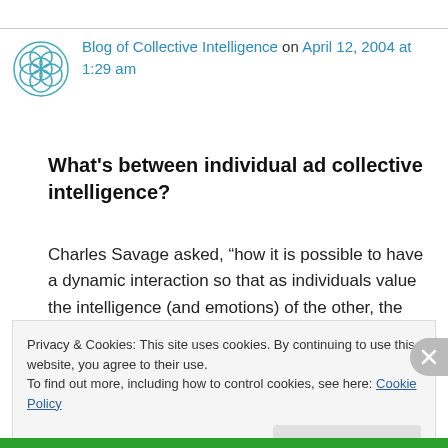Blog of Collective Intelligence on April 12, 2004 at 1:29 am
What's between individual ad collective intelligence?
Charles Savage asked, “how it is possible to have a dynamic interaction so that as individuals value the intelligence (and emotions) of the other, the collective intelligence emerges?”
Privacy & Cookies: This site uses cookies. By continuing to use this website, you agree to their use.
To find out more, including how to control cookies, see here: Cookie Policy